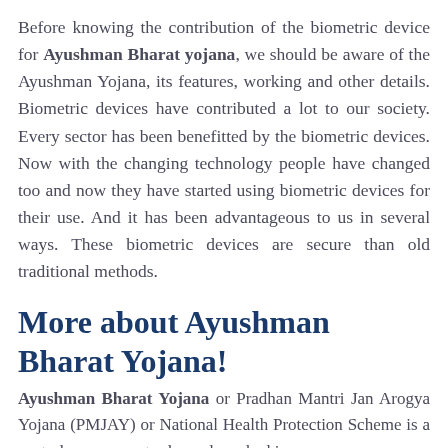Before knowing the contribution of the biometric device for Ayushman Bharat yojana, we should be aware of the Ayushman Yojana, its features, working and other details. Biometric devices have contributed a lot to our society. Every sector has been benefitted by the biometric devices. Now with the changing technology people have changed too and now they have started using biometric devices for their use. And it has been advantageous to us in several ways. These biometric devices are secure than old traditional methods.
More about Ayushman Bharat Yojana!
Ayushman Bharat Yojana or Pradhan Mantri Jan Arogya Yojana (PMJAY) or National Health Protection Scheme is a central government scheme launched in